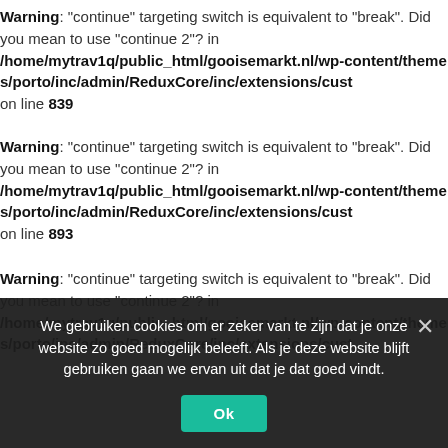Warning: "continue" targeting switch is equivalent to "break". Did you mean to use "continue 2"? in /home/mytrav1q/public_html/gooisemarkt.nl/wp-content/themes/porto/inc/admin/ReduxCore/inc/extensions/cust on line 839
Warning: "continue" targeting switch is equivalent to "break". Did you mean to use "continue 2"? in /home/mytrav1q/public_html/gooisemarkt.nl/wp-content/themes/porto/inc/admin/ReduxCore/inc/extensions/cust on line 893
Warning: "continue" targeting switch is equivalent to "break". Did you mean to use "continue 2"? in /home/mytrav1q/public_html/gooisemarkt.nl/wp-content/themes/porto/inc/admin/ReduxCore/inc/extensions/cust
We gebruiken cookies om er zeker van te zijn dat je onze website zo goed mogelijk beleeft. Als je deze website blijft gebruiken gaan we ervan uit dat je dat goed vindt. Ok